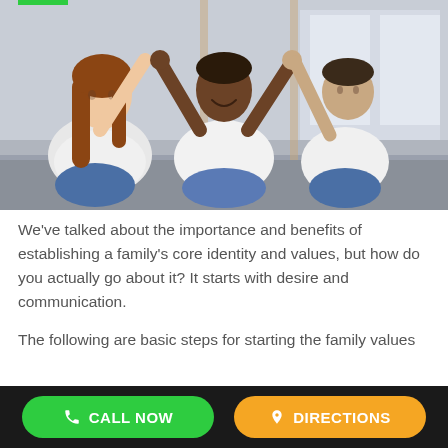[Figure (photo): A woman with long brown hair and two boys sitting on a bed, all wearing white shirts. The boys are raising their arms to make a roof shape together, smiling and playing.]
We've talked about the importance and benefits of establishing a family's core identity and values, but how do you actually go about it? It starts with desire and communication.
The following are basic steps for starting the family values
CALL NOW   DIRECTIONS